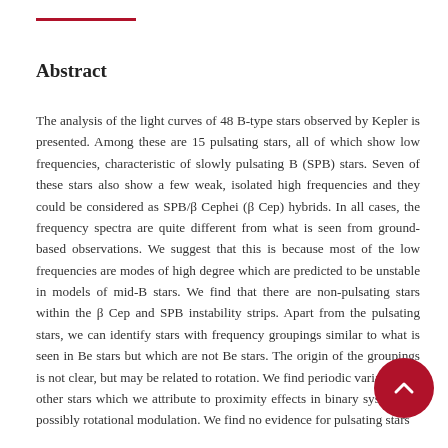Abstract
The analysis of the light curves of 48 B-type stars observed by Kepler is presented. Among these are 15 pulsating stars, all of which show low frequencies, characteristic of slowly pulsating B (SPB) stars. Seven of these stars also show a few weak, isolated high frequencies and they could be considered as SPB/β Cephei (β Cep) hybrids. In all cases, the frequency spectra are quite different from what is seen from ground-based observations. We suggest that this is because most of the low frequencies are modes of high degree which are predicted to be unstable in models of mid-B stars. We find that there are non-pulsating stars within the β Cep and SPB instability strips. Apart from the pulsating stars, we can identify stars with frequency groupings similar to what is seen in Be stars but which are not Be stars. The origin of the groupings is not clear, but may be related to rotation. We find periodic variations in other stars which we attribute to proximity effects in binary systems or possibly rotational modulation. We find no evidence for pulsating stars